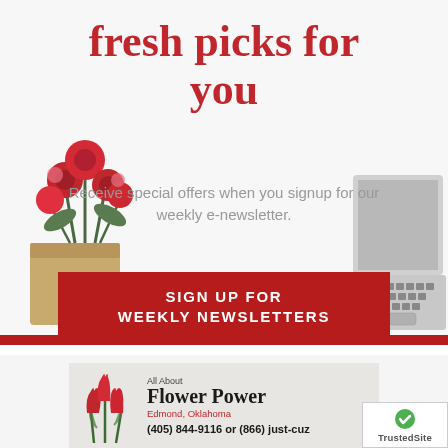fresh picks for you
Receive special offers when you signup for our weekly e-newsletter.
SIGN UP FOR WEEKLY NEWSLETTERS
[Figure (photo): Pink/red flower bouquet in kraft paper wrapping, bottom left]
[Figure (photo): Laptop keyboard, bottom right]
[Figure (logo): All About Flower Power florist logo with red tulips, Edmond Oklahoma]
(405) 844-9116 or (866) just-cuz
[Figure (logo): TrustedSite badge with green checkmark]